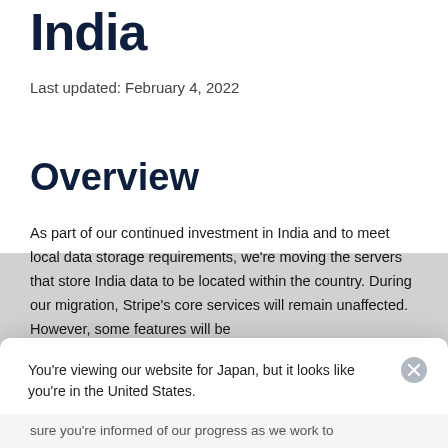India
Last updated: February 4, 2022
Overview
As part of our continued investment in India and to meet local data storage requirements, we're moving the servers that store India data to be located within the country. During our migration, Stripe's core services will remain unaffected. However, some features will be
You're viewing our website for Japan, but it looks like you're in the United States.
Switch to the United States site >
sure you're informed of our progress as we work to